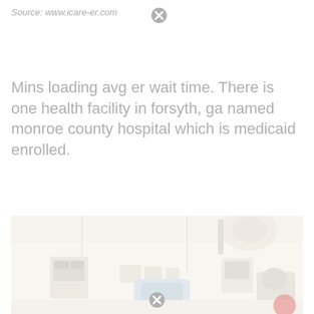Source: www.icare-er.com
Mins loading avg er wait time. There is one health facility in forsyth, ga named monroe county hospital which is medicaid enrolled.
[Figure (photo): Interior photograph of an emergency room or medical facility, showing medical equipment, monitors, chairs, and examination area. The image has a very light, washed-out appearance.]